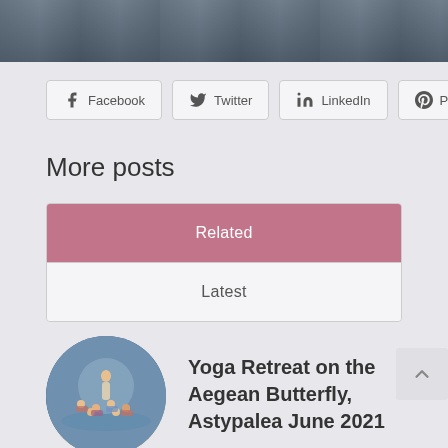[Figure (photo): Partial top crop of a yoga class photo showing people on mats in an indoor space]
Facebook
Twitter
LinkedIn
Pinterest
More posts
Related
Latest
[Figure (photo): Circular thumbnail of a yoga retreat on a beach with many participants seated in a circle outdoors]
Yoga Retreat on the Aegean Butterfly, Astypalea June 2021